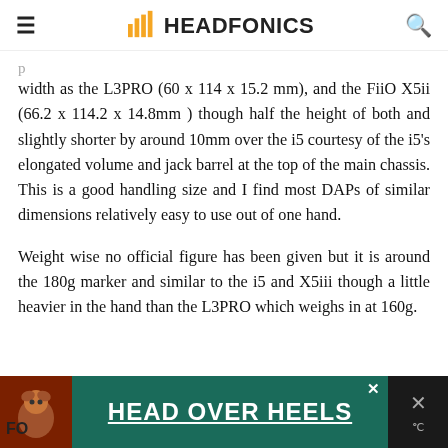HEADFONICS
width as the L3PRO (60 x 114 x 15.2 mm), and the FiiO X5ii (66.2 x 114.2 x 14.8mm ) though half the height of both and slightly shorter by around 10mm over the i5 courtesy of the i5's elongated volume and jack barrel at the top of the main chassis. This is a good handling size and I find most DAPs of similar dimensions relatively easy to use out of one hand.
Weight wise no official figure has been given but it is around the 180g marker and similar to the i5 and X5iii though a little heavier in the hand than the L3PRO which weighs in at 160g.
[Figure (other): Advertisement banner: Dog image on green background with text HEAD OVER HEELS, close button, and dark right panel with X and temperature icon]